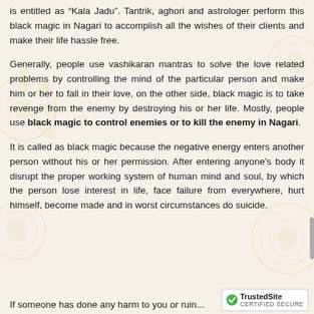is entitled as “Kala Jadu”. Tantrik, aghori and astrologer perform this black magic in Nagari to accomplish all the wishes of their clients and make their life hassle free.
Generally, people use vashikaran mantras to solve the love related problems by controlling the mind of the particular person and make him or her to fall in their love, on the other side, black magic is to take revenge from the enemy by destroying his or her life. Mostly, people use black magic to control enemies or to kill the enemy in Nagari.
It is called as black magic because the negative energy enters another person without his or her permission. After entering anyone’s body it disrupt the proper working system of human mind and soul, by which the person lose interest in life, face failure from everywhere, hurt himself, become made and in worst circumstances do suicide.
If someone has done any harm to you or ruin...
[Figure (logo): TrustedSite CERTIFIED SECURE badge with green checkmark]